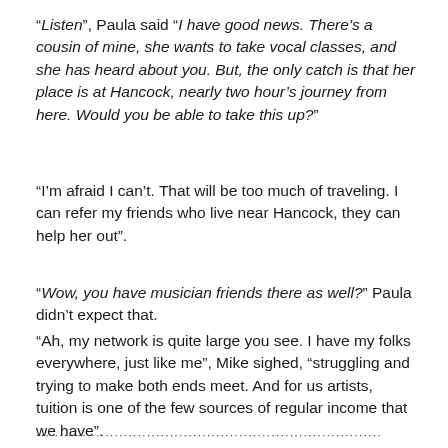“Listen”, Paula said “I have good news. There’s a cousin of mine, she wants to take vocal classes, and she has heard about you. But, the only catch is that her place is at Hancock, nearly two hour’s journey from here. Would you be able to take this up?”
“I’m afraid I can’t. That will be too much of traveling. I can refer my friends who live near Hancock, they can help her out”.
“Wow, you have musician friends there as well?” Paula didn’t expect that.
“Ah, my network is quite large you see. I have my folks everywhere, just like me”, Mike sighed, “struggling and trying to make both ends meet. And for us artists, tuition is one of the few sources of regular income that we have”.
...............................................................................